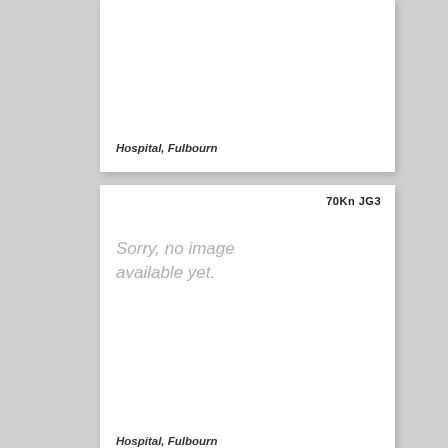[Figure (other): Card showing no image available for Hospital, Fulbourn]
Hospital, Fulbourn
[Figure (other): Card labeled 70Kn JG3 showing no image available for Hospital, Fulbourn]
Hospital, Fulbourn
[Figure (other): Card labeled 70Kn JG4 showing no image available]
Sorry, no image